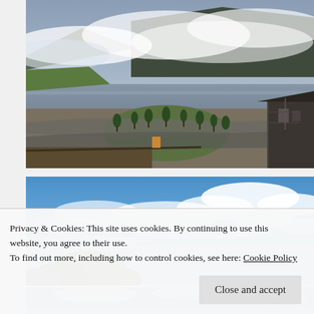[Figure (photo): Aerial/elevated view of a road roundabout with trees, green lawn, a building on the right, a lake in the middle distance, and mountains covered in low clouds and mist in the background. Overcast moody sky.]
[Figure (photo): Bright blue sky with scattered white clouds and tops of green trees visible at the bottom of the frame.]
[Figure (photo): Partial view of a third photo at the bottom, partially obscured by cookie banner.]
Privacy & Cookies: This site uses cookies. By continuing to use this website, you agree to their use.
To find out more, including how to control cookies, see here: Cookie Policy
Close and accept